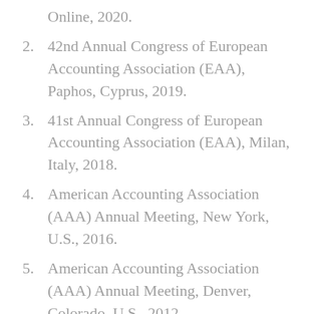Online, 2020.
2. 42nd Annual Congress of European Accounting Association (EAA), Paphos, Cyprus, 2019.
3. 41st Annual Congress of European Accounting Association (EAA), Milan, Italy, 2018.
4. American Accounting Association (AAA) Annual Meeting, New York, U.S., 2016.
5. American Accounting Association (AAA) Annual Meeting, Denver, Colorado, U.S., 2012.
6. American Accounting Association (AAA)